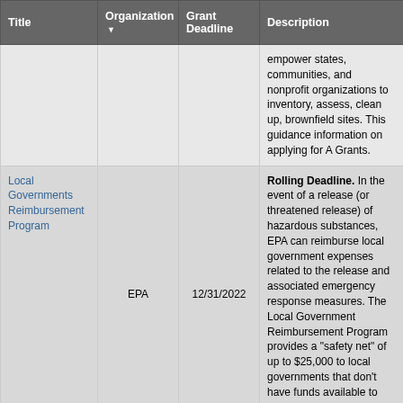| Title | Organization ▼ | Grant Deadline | Description |
| --- | --- | --- | --- |
|  |  |  | empower states, communities, and nonprofit organizations to inventory, assess, clean up, brownfield sites. This guidance information on applying for A Grants. |
| Local Governments Reimbursement Program | EPA | 12/31/2022 | Rolling Deadline. In the event of a release (or threatened release) of hazardous substances, EPA can reimburse local government expenses related to the release and associated emergency response measures. The Local Government Reimbursement Program provides a "safety net" of up to $25,000 to local governments that don't have funds available to pay for response actions. |
|  |  |  | The U.S. Environmental Protection Agency (EPA), as part of its... |